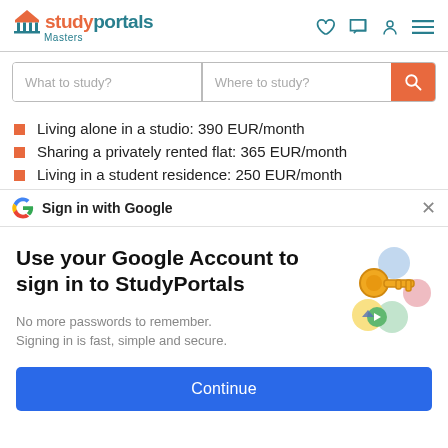[Figure (logo): StudyPortals Masters logo with navigation icons (heart, chat, user, menu)]
[Figure (screenshot): Search bar with 'What to study?' and 'Where to study?' fields and orange search button]
Living alone in a studio: 390 EUR/month
Sharing a privately rented flat: 365 EUR/month
Living in a student residence: 250 EUR/month
Sign in with Google
Use your Google Account to sign in to StudyPortals
No more passwords to remember. Signing in is fast, simple and secure.
Continue